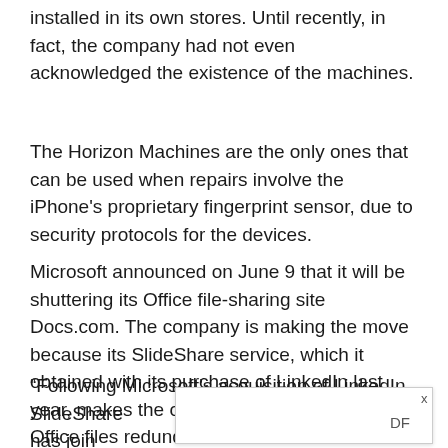installed in its own stores. Until recently, in fact, the company had not even acknowledged the existence of the machines.
The Horizon Machines are the only ones that can be used when repairs involve the iPhone's proprietary fingerprint sensor, due to security protocols for the devices.
Microsoft announced on June 9 that it will be shuttering its Office file-sharing site Docs.com. The company is making the move because its SlideShare service, which it obtained with its purchase of LinkedIn last year, makes the online public repository for Office files redundant.
“Following Microsoft’s acquisition of LinkedIn, SlideShare has join— [overlaid] — the ideal platform — [overlaid] — DF